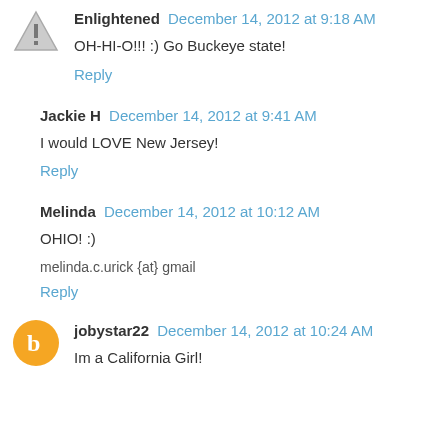Enlightened  December 14, 2012 at 9:18 AM
OH-HI-O!!! :) Go Buckeye state!
Reply
Jackie H  December 14, 2012 at 9:41 AM
I would LOVE New Jersey!
Reply
Melinda  December 14, 2012 at 10:12 AM
OHIO! :)
melinda.c.urick {at} gmail
Reply
jobystar22  December 14, 2012 at 10:24 AM
Im a California Girl!